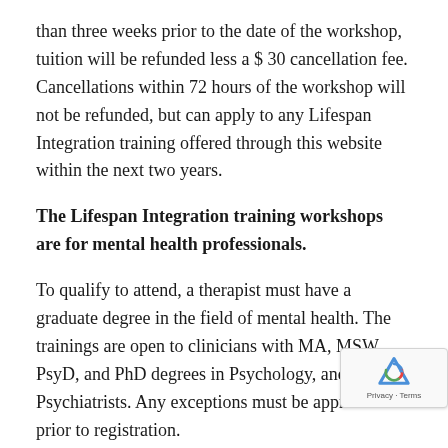than three weeks prior to the date of the workshop, tuition will be refunded less a $ 30 cancellation fee. Cancellations within 72 hours of the workshop will not be refunded, but can apply to any Lifespan Integration training offered through this website within the next two years.
The Lifespan Integration training workshops are for mental health professionals.
To qualify to attend, a therapist must have a graduate degree in the field of mental health. The trainings are open to clinicians with MA, MSW, PsyD, and PhD degrees in Psychology, and to MD Psychiatrists. Any exceptions must be approved prior to registration.
Psychology graduate students nearing completion